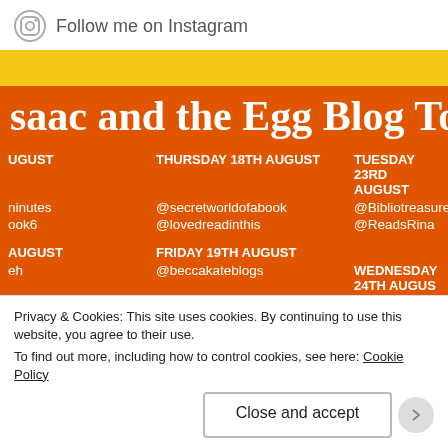Follow me on Instagram
[Figure (screenshot): Orange blog tour promotional banner for 'Isaac and the Egg Blog Tour' showing scheduled dates and Instagram handles: THURSDAY 18TH AUGUST @secretworldofabook @lovedreadinthis, TUESDAY 23RD AUGUST @Bibliotreasures @ReadsRina, FRIDAY 19TH AUGUST @beccakateblogs @BookLeap @chapter1.page1, WEDNESDAY 24TH AUGUST @KateRutherford6]
Privacy & Cookies: This site uses cookies. By continuing to use this website, you agree to their use.
To find out more, including how to control cookies, see here: Cookie Policy
Close and accept